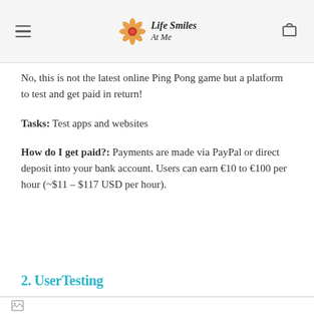Life Smiles At Me
No, this is not the latest online Ping Pong game but a platform to test and get paid in return!
Tasks: Test apps and websites
How do I get paid?: Payments are made via PayPal or direct deposit into your bank account. Users can earn €10 to €100 per hour (~$11 – $117 USD per hour).
2. UserTesting
[Figure (photo): Image placeholder at bottom of page]